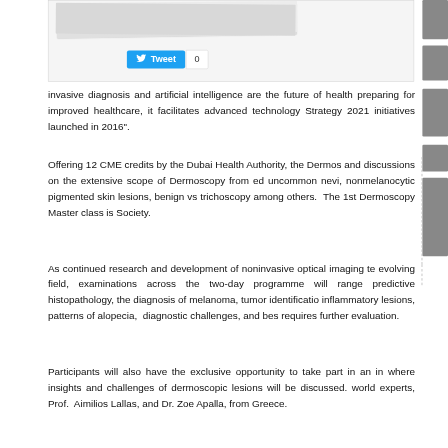[Figure (screenshot): Top card area with stacked documents/cards and a Tweet button showing count 0]
invasive diagnosis and artificial intelligence are the future of health preparing for improved healthcare, it facilitates advanced technology Strategy 2021 initiatives launched in 2016".
Offering 12 CME credits by the Dubai Health Authority, the Dermoscopy and discussions on the extensive scope of Dermoscopy from education uncommon nevi, nonmelanocytic pigmented skin lesions, benign vs trichoscopy among others. The 1st Dermoscopy Master class is Society.
As continued research and development of noninvasive optical imaging technology evolving field, examinations across the two-day programme will range predictive histopathology, the diagnosis of melanoma, tumor identification inflammatory lesions, patterns of alopecia, diagnostic challenges, and best requires further evaluation.
Participants will also have the exclusive opportunity to take part in an interactive where insights and challenges of dermoscopic lesions will be discussed. world experts, Prof. Aimilios Lallas, and Dr. Zoe Apalla, from Greece.